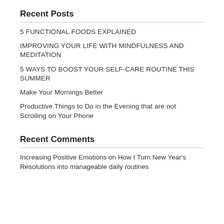Recent Posts
5 FUNCTIONAL FOODS EXPLAINED
IMPROVING YOUR LIFE WITH MINDFULNESS AND MEDITATION
5 WAYS TO BOOST YOUR SELF-CARE ROUTINE THIS SUMMER
Make Your Mornings Better
Productive Things to Do in the Evening that are not Scrolling on Your Phone
Recent Comments
Increasing Positive Emotions on How I Turn New Year's Resolutions into manageable daily routines